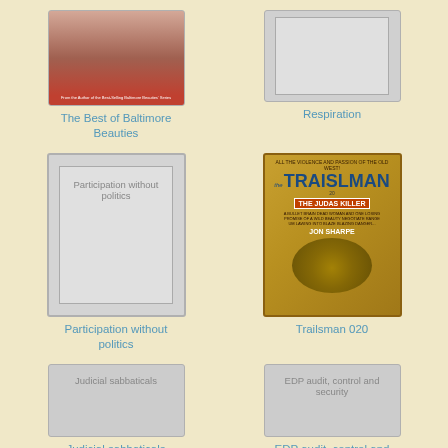[Figure (photo): Book cover: The Best of Baltimore Beauties]
The Best of Baltimore Beauties
[Figure (photo): Book cover placeholder: Respiration (gray)]
Respiration
[Figure (photo): Book cover placeholder: Participation without politics (gray box with text)]
Participation without politics
[Figure (photo): Book cover: Trailsman 020 - The Judas Killer by Jon Sharpe, yellow/gold background western]
Trailsman 020
[Figure (photo): Book cover placeholder: Judicial sabbaticals (gray)]
Judicial sabbaticals
[Figure (photo): Book cover placeholder: EDP audit, control and security (gray)]
EDP audit, control and security